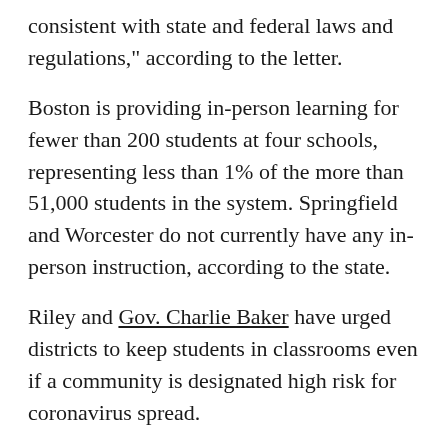consistent with state and federal laws and regulations," according to the letter.
Boston is providing in-person learning for fewer than 200 students at four schools, representing less than 1% of the more than 51,000 students in the system. Springfield and Worcester do not currently have any in-person instruction, according to the state.
Riley and Gov. Charlie Baker have urged districts to keep students in classrooms even if a community is designated high risk for coronavirus spread.
"Not being in school poses significant risks for kids, both related to COVID and related to other health concerns, like depression, anxiety, and others," Baker said earlier this month.